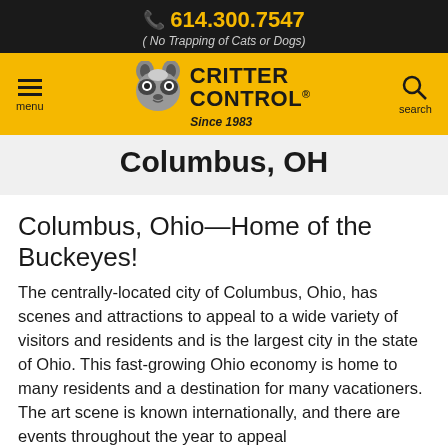614.300.7547 ( No Trapping of Cats or Dogs)
[Figure (logo): Critter Control logo with raccoon face icon, text 'CRITTER CONTROL. Since 1983', on yellow navigation bar with menu and search icons]
Columbus, OH
Columbus, Ohio—Home of the Buckeyes!
The centrally-located city of Columbus, Ohio, has scenes and attractions to appeal to a wide variety of visitors and residents and is the largest city in the state of Ohio. This fast-growing Ohio economy is home to many residents and a destination for many vacationers. The art scene is known internationally, and there are events throughout the year to appeal